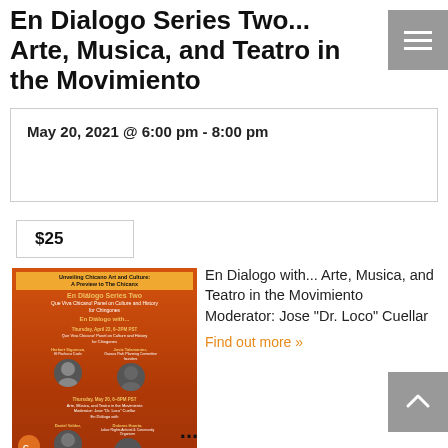En Dialogo Series Two... Arte, Musica, and Teatro in the Movimiento
May 20, 2021 @ 6:00 pm - 8:00 pm
$25
[Figure (photo): Event poster for En Dialogo Series Two showing speakers Herbert Siguenza, Josie Talamantez, Daniel Valdez, and Dolores Huerta on an orange/brown background]
En Dialogo with... Arte, Musica, and Teatro in the Movimiento Moderator: Jose "Dr. Loco" Cuellar
Find out more »
...